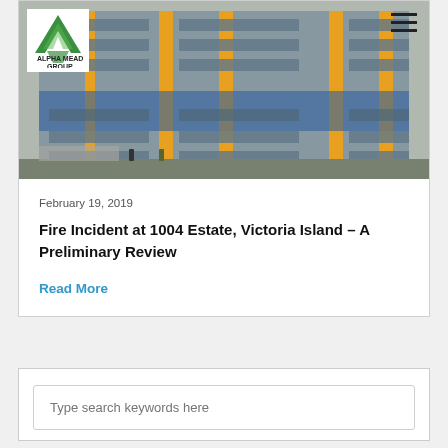[Figure (photo): Photograph of a large multi-storey residential estate building with yellow and blue facade, with Alpha Mead Group logo overlay in top-left and hamburger menu icon in top-right.]
February 19, 2019
Fire Incident at 1004 Estate, Victoria Island – A Preliminary Review
Read More
Type search keywords here